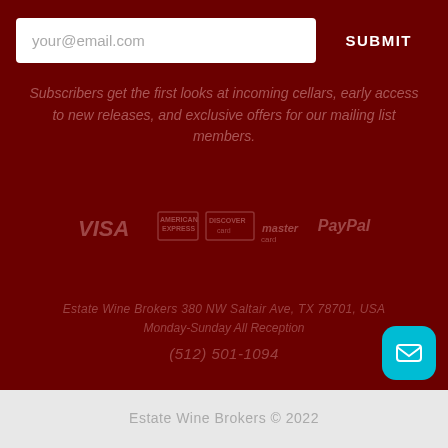your@email.com
SUBMIT
Subscribers get the first looks at incoming cellars, early access to new releases, and exclusive offers for our mailing list members.
[Figure (logo): Payment logos: VISA, American Express, Discover, Mastercard, PayPal]
Estate Wine Brokers 380 NW Saltair Ave, TX 78701, USA
Monday-Sunday All Reception
(512) 501-1094
Estate Wine Brokers © 2022